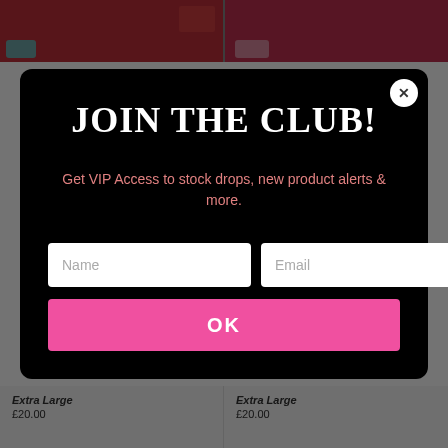[Figure (screenshot): Background product images (top half and bottom strip) of red-themed merchandise items visible behind modal overlay]
JOIN THE CLUB!
Get VIP Access to stock drops, new product alerts & more.
Name
Email
OK
Extra Large
£20.00
Extra Large
£20.00